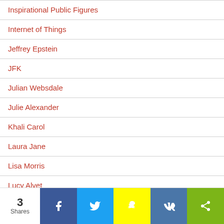Inspirational Public Figures
Internet of Things
Jeffrey Epstein
JFK
Julian Websdale
Julie Alexander
Khali Carol
Laura Jane
Lisa Morris
Lucy Alvet
Makia Freeman
3 Shares